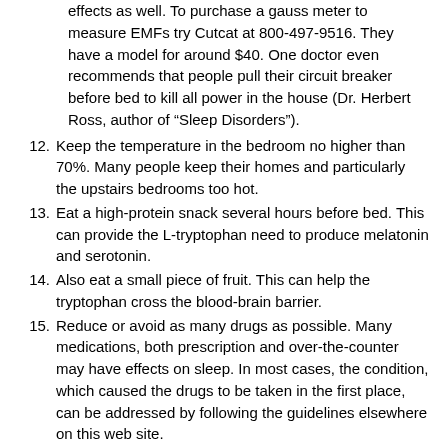effects as well. To purchase a gauss meter to measure EMFs try Cutcat at 800-497-9516. They have a model for around $40. One doctor even recommends that people pull their circuit breaker before bed to kill all power in the house (Dr. Herbert Ross, author of “Sleep Disorders”).
12. Keep the temperature in the bedroom no higher than 70%. Many people keep their homes and particularly the upstairs bedrooms too hot.
13. Eat a high-protein snack several hours before bed. This can provide the L-tryptophan need to produce melatonin and serotonin.
14. Also eat a small piece of fruit. This can help the tryptophan cross the blood-brain barrier.
15. Reduce or avoid as many drugs as possible. Many medications, both prescription and over-the-counter may have effects on sleep. In most cases, the condition, which caused the drugs to be taken in the first place, can be addressed by following the guidelines elsewhere on this web site.
16. Avoid caffeine. A recent study showed that in some